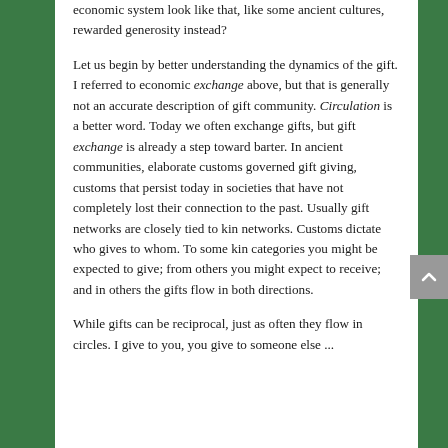economic system look like that, like some ancient cultures, rewarded generosity instead?
Let us begin by better understanding the dynamics of the gift. I referred to economic exchange above, but that is generally not an accurate description of gift community. Circulation is a better word. Today we often exchange gifts, but gift exchange is already a step toward barter. In ancient communities, elaborate customs governed gift giving, customs that persist today in societies that have not completely lost their connection to the past. Usually gift networks are closely tied to kin networks. Customs dictate who gives to whom. To some kin categories you might be expected to give; from others you might expect to receive; and in others the gifts flow in both directions.
While gifts can be reciprocal, just as often they flow in circles. I give to you, you give to someone else ...